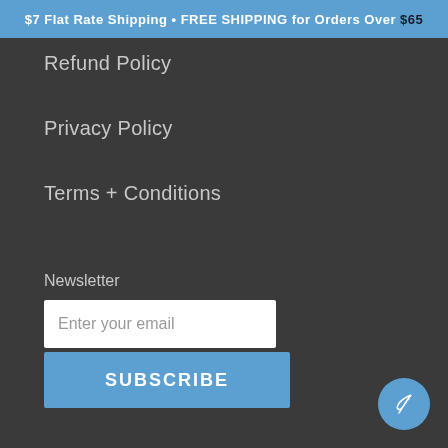$7 Flat Rate Shipping • FREE SHIPPING for Orders Over $65
Refund Policy
Privacy Policy
Terms + Conditions
Newsletter
Enter your email
SUBSCRIBE